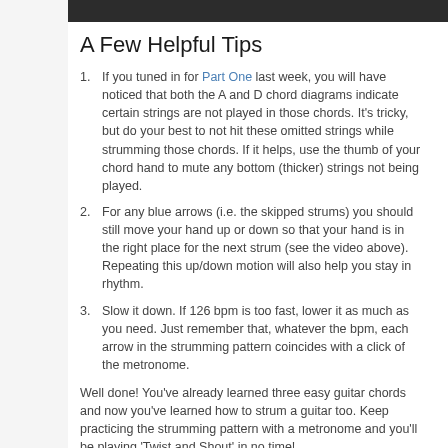A Few Helpful Tips
If you tuned in for Part One last week, you will have noticed that both the A and D chord diagrams indicate certain strings are not played in those chords. It's tricky, but do your best to not hit these omitted strings while strumming those chords. If it helps, use the thumb of your chord hand to mute any bottom (thicker) strings not being played.
For any blue arrows (i.e. the skipped strums) you should still move your hand up or down so that your hand is in the right place for the next strum (see the video above). Repeating this up/down motion will also help you stay in rhythm.
Slow it down. If 126 bpm is too fast, lower it as much as you need. Just remember that, whatever the bpm, each arrow in the strumming pattern coincides with a click of the metronome.
Well done! You've already learned three easy guitar chords and now you've learned how to strum a guitar too. Keep practicing the strumming pattern with a metronome and you'll be playing 'Twist and Shout' in no time!
Having trouble transitioning between chords? Help is on the way! Read Part Three: Changing Chords for more tips on playing and links to other